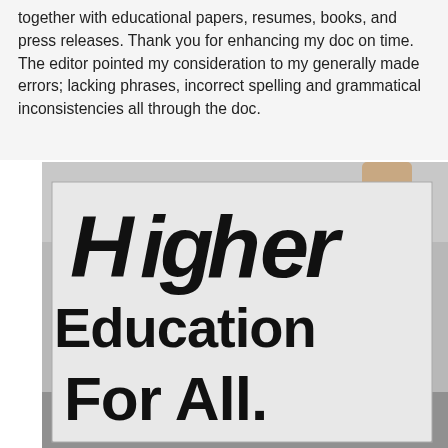together with educational papers, resumes, books, and press releases. Thank you for enhancing my doc on time. The editor pointed my consideration to my generally made errors; lacking phrases, incorrect spelling and grammatical inconsistencies all through the doc.
[Figure (photo): A person holding a large hand-painted white sign that reads 'Higher Education For All' in large black brush-painted letters.]